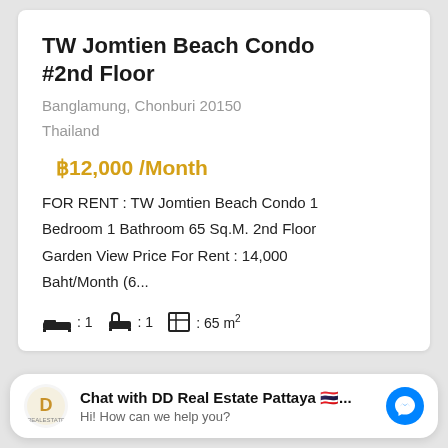TW Jomtien Beach Condo #2nd Floor
Banglamung, Chonburi 20150
Thailand
฿12,000 /Month
FOR RENT : TW Jomtien Beach Condo 1 Bedroom 1 Bathroom 65 Sq.M. 2nd Floor Garden View Price For Rent : 14,000 Baht/Month (6...
[Figure (infographic): Bed icon: 1, Bath icon: 1, Area icon: 65 m²]
Chat with DD Real Estate Pattaya 🇹🇭...
Hi! How can we help you?